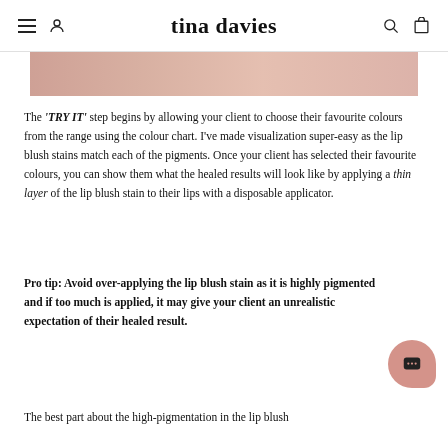tina davies
[Figure (photo): Partial view of a skin-tone colored photo strip at top of page]
The 'TRY IT' step begins by allowing your client to choose their favourite colours from the range using the colour chart. I've made visualization super-easy as the lip blush stains match each of the pigments. Once your client has selected their favourite colours, you can show them what the healed results will look like by applying a thin layer of the lip blush stain to their lips with a disposable applicator.
Pro tip: Avoid over-applying the lip blush stain as it is highly pigmented and if too much is applied, it may give your client an unrealistic expectation of their healed result.
The best part about the high-pigmentation in the lip blush